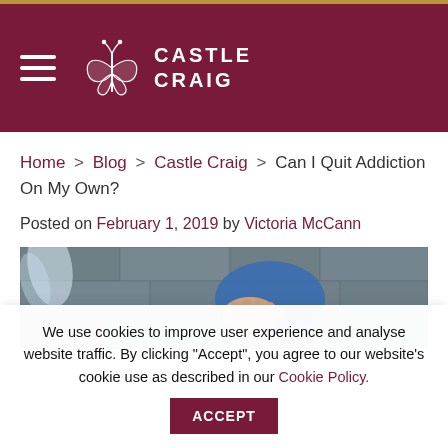Castle Craig — header with hamburger menu and logo
Home > Blog > Castle Craig > Can I Quit Addiction On My Own?
Posted on February 1, 2019 by Victoria McCann
[Figure (photo): A person's hand pressed against a stone wall, wearing a blue cap, water splashing around]
We use cookies to improve user experience and analyse website traffic. By clicking "Accept", you agree to our website's cookie use as described in our Cookie Policy.